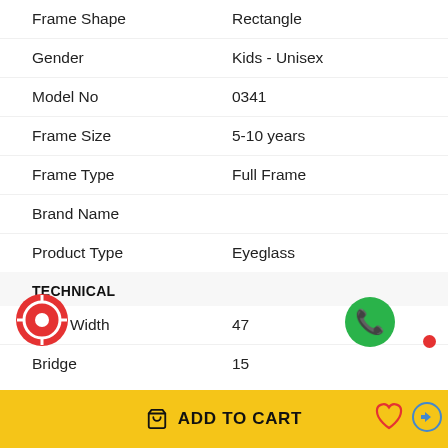| Attribute | Value |
| --- | --- |
| Frame Shape | Rectangle |
| Gender | Kids - Unisex |
| Model No | 0341 |
| Frame Size | 5-10 years |
| Frame Type | Full Frame |
| Brand Name |  |
| Product Type | Eyeglass |
TECHNICAL
| Attribute | Value |
| --- | --- |
| Lens Width | 47 |
| Bridge | 15 |
ADD TO CART